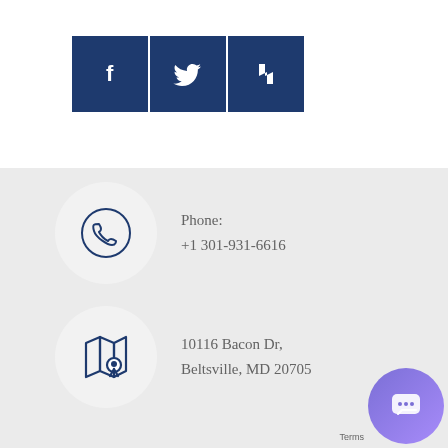[Figure (infographic): Three dark blue square social media icon buttons: Facebook (f), Twitter (bird), and Houzz (h) icons side by side]
Phone:
+1 301-931-6616
10116 Bacon Dr,
Beltsville, MD 20705